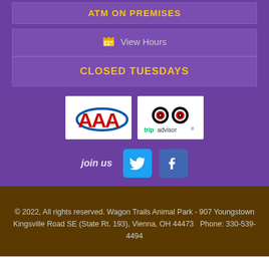ATM ON PREMISES
View Hours
CLOSED TUESDAYS
[Figure (logo): AAA logo with red triple-A symbol and blue oval]
[Figure (logo): TripAdvisor logo with owl icon]
join us
[Figure (logo): Twitter bird social media button]
[Figure (logo): Facebook F social media button]
© 2022, All rights reserved. Wagon Trails Animal Park - 907 Youngstown Kingsville Road SE (State Rt. 193), Vienna, OH 44473   Phone: 330-539-4494